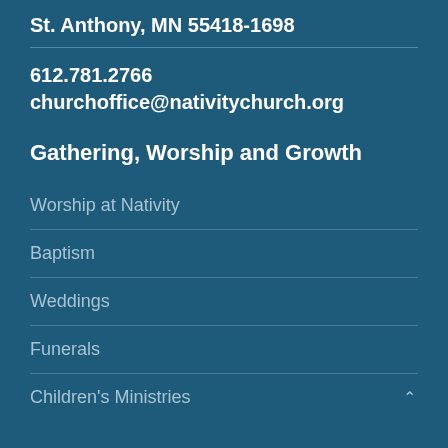St. Anthony, MN 55418-1698
612.781.2766
churchoffice@nativitychurch.org
Gathering, Worship and Growth
Worship at Nativity
Baptism
Weddings
Funerals
Children's Ministries